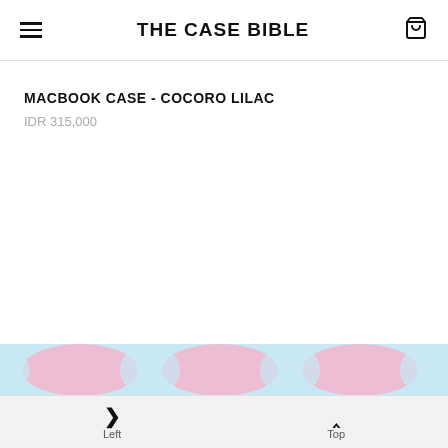THE CASE BIBLE
MACBOOK CASE - COCORO LILAC
IDR 315,000
[Figure (photo): Product image strip showing a lilac/pastel macbook case with pink and blue circular pattern, partially visible at the bottom of the page.]
Left  Top